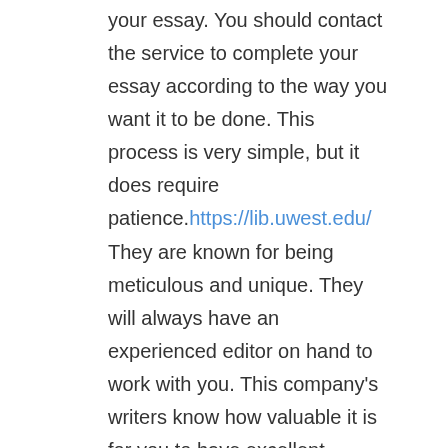your essay. You should contact the service to complete your essay according to the way you want it to be done. This process is very simple, but it does require patience.https://lib.uwest.edu/
They are known for being meticulous and unique. They will always have an experienced editor on hand to work with you. This company's writers know how valuable it is for you to have excellent content. They will help you make sure that your essay is comprehensive and helpful. Whether you are writing for personal or school essays, you will need to be able to expect high quality results from the top essay writing services.